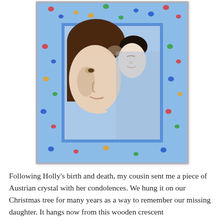[Figure (illustration): A quilted artwork depicting a woman and a baby in profile, surrounded by a blue border fabric printed with colorful handprints. The central panel shows a mother with brown hair leaning close to a small white-fabric baby. The border is light blue patterned with multi-colored handprints in red, yellow, green, and blue.]
Following Holly's birth and death, my cousin sent me a piece of Austrian crystal with her condolences. We hung it on our Christmas tree for many years as a way to remember our missing daughter. It hangs now from this wooden crescent